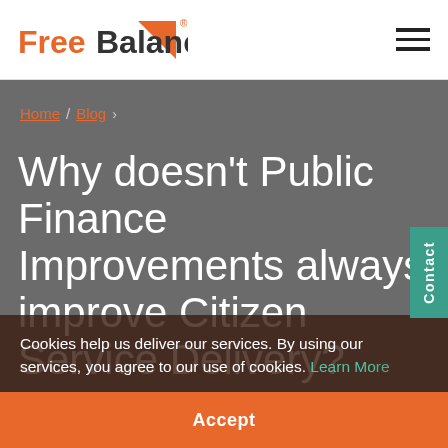FreeBalance
Home / Blog
Why doesn't Public Finance Improvements always improve Citizen Service Delivery?
Cookies help us deliver our services. By using our services, you agree to our use of cookies. Learn More
Accept